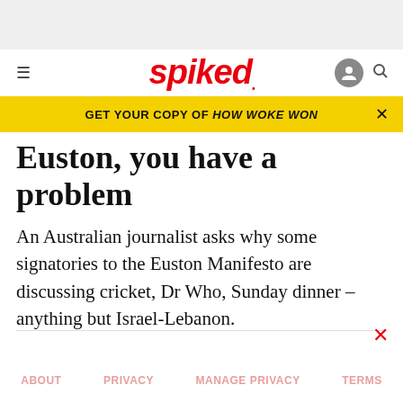[Figure (other): Gray advertisement banner placeholder at top of page]
spiked
GET YOUR COPY OF HOW WOKE WON
Euston, you have a problem
An Australian journalist asks why some signatories to the Euston Manifesto are discussing cricket, Dr Who, Sunday dinner – anything but Israel-Lebanon.
ABOUT   PRIVACY   MANAGE PRIVACY   TERMS